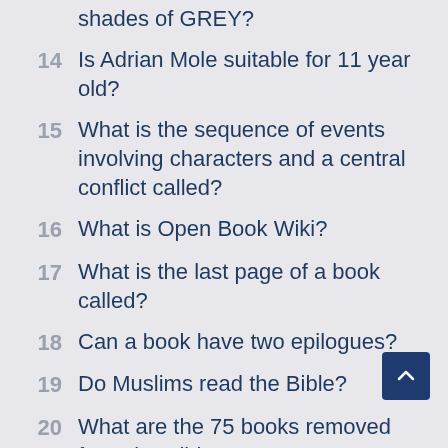shades of GREY?
14  Is Adrian Mole suitable for 11 year old?
15  What is the sequence of events involving characters and a central conflict called?
16  What is Open Book Wiki?
17  What is the last page of a book called?
18  Can a book have two epilogues?
19  Do Muslims read the Bible?
20  What are the 75 books removed from the Bible?
21  What are the books that will be